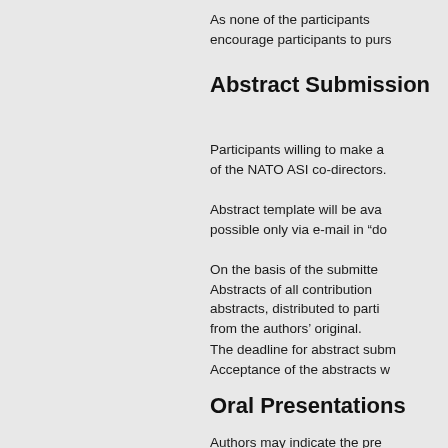As none of the participants encourage participants to purs
Abstract Submission
Participants willing to make a of the NATO ASI co-directors.
Abstract template will be ava possible only via e-mail in “do
On the basis of the submitte Abstracts of all contribution abstracts, distributed to parti from the authors’ original.
The deadline for abstract subm Acceptance of the abstracts w
Oral Presentations
Authors may indicate the pre submission forms. The numb precise time slot for presenta